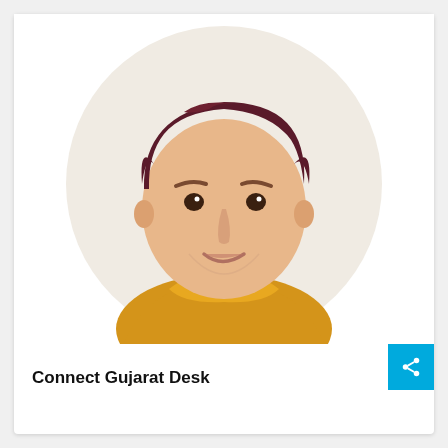[Figure (illustration): Cartoon avatar illustration of a man with dark brown hair, peach skin tone, and wearing a yellow/mustard shirt, shown from shoulders up inside a circular light gray background]
Connect Gujarat Desk